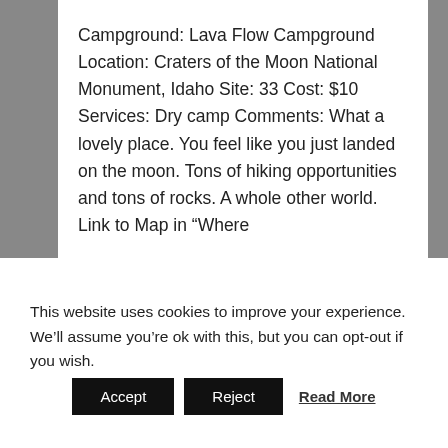Campground: Lava Flow Campground Location: Craters of the Moon National Monument, Idaho Site: 33 Cost: $10 Services: Dry camp Comments: What a lovely place. You feel like you just landed on the moon. Tons of hiking opportunities and tons of rocks. A whole other world. Link to Map in “Where
CONTINUE READING »
This website uses cookies to improve your experience. We’ll assume you’re ok with this, but you can opt-out if you wish.
Accept
Reject
Read More